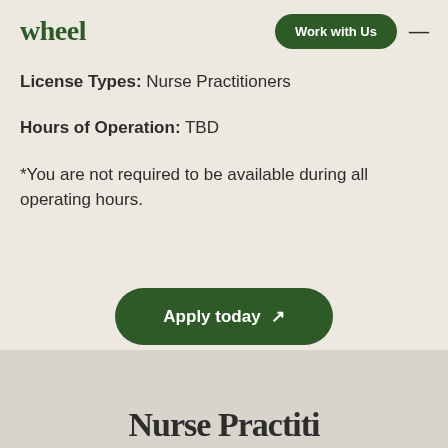wheel
License Types: Nurse Practitioners
Hours of Operation: TBD
*You are not required to be available during all operating hours.
Apply today ↗
Nurse Practiti...